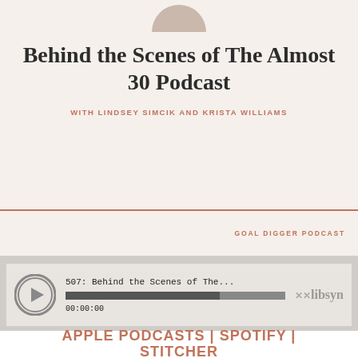[Figure (photo): Partial circular photo of two people at top of card]
Behind the Scenes of The Almost 30 Podcast
WITH LINDSEY SIMCIK AND KRISTA WILLIAMS
GOAL DIGGER PODCAST
[Figure (screenshot): Libsyn audio player widget showing episode 507: Behind the Scenes of The... with progress bar at 00:00:00]
APPLE PODCASTS | SPOTIFY | STITCHER